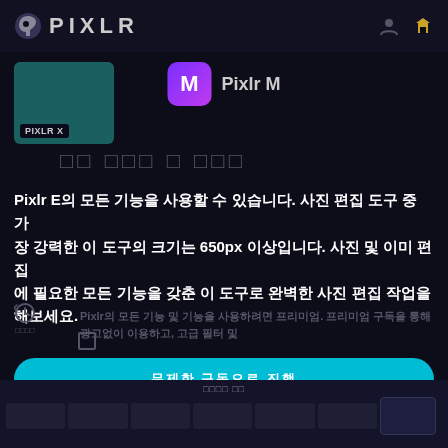PIXLR
[Figure (logo): Pixlr M purple icon badge with letter M, and Pixlr X teal thumbnail with PIXLR X label]
[Korean text - redacted boxes displayed as dim placeholder]
Pixlr E의 모든 기능을 사용할 수 있습니다. 사진 편집 도구 중 가장 강력한 이 도구의 크기는 650px 이상입니다. 사진 및 이미지 편집에 필요한 모든 기능을 갖춘 이 도구로 완벽한 사진 편집 작업을 해보세요.
Pixlr의 모든 기능 및 기능을 사용하려면 프리미엄. 프리미엄 구독을 통해 광고없이 이용하고, 고급 필터 및
무제한 구독으로 진행
계속하기 전에